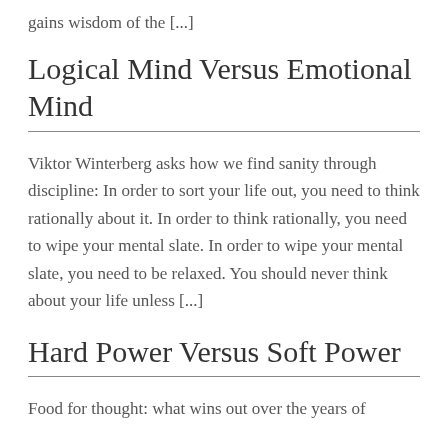gains wisdom of the [...]
Logical Mind Versus Emotional Mind
Viktor Winterberg asks how we find sanity through discipline: In order to sort your life out, you need to think rationally about it. In order to think rationally, you need to wipe your mental slate. In order to wipe your mental slate, you need to be relaxed. You should never think about your life unless [...]
Hard Power Versus Soft Power
Food for thought: what wins out over the years of